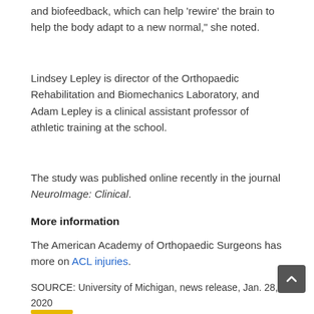and biofeedback, which can help 'rewire' the brain to help the body adapt to a new normal," she noted.
Lindsey Lepley is director of the Orthopaedic Rehabilitation and Biomechanics Laboratory, and Adam Lepley is a clinical assistant professor of athletic training at the school.
The study was published online recently in the journal NeuroImage: Clinical.
More information
The American Academy of Orthopaedic Surgeons has more on ACL injuries.
SOURCE: University of Michigan, news release, Jan. 28, 2020